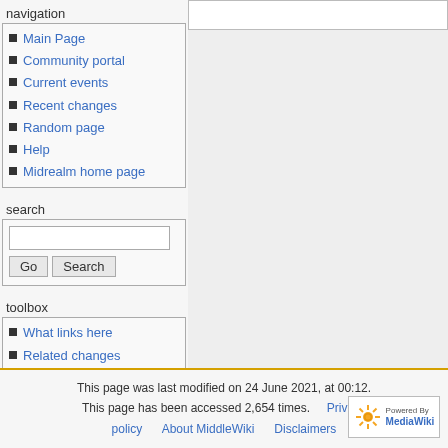navigation
Main Page
Community portal
Current events
Recent changes
Random page
Help
Midrealm home page
search
toolbox
What links here
Related changes
Special pages
Printable version
Permanent link
This page was last modified on 24 June 2021, at 00:12. This page has been accessed 2,654 times. Privacy policy About MiddleWiki Disclaimers